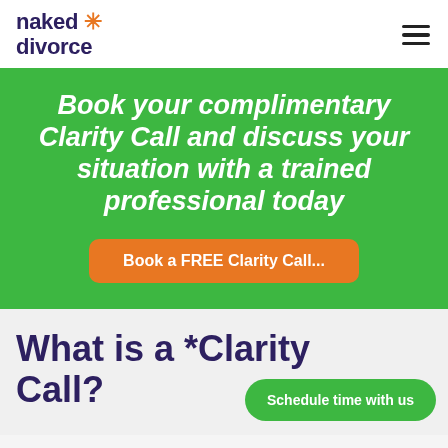naked divorce
Book your complimentary Clarity Call and discuss your situation with a trained professional today
Book a FREE Clarity Call...
What is a *Clarity Call?
Schedule time with us